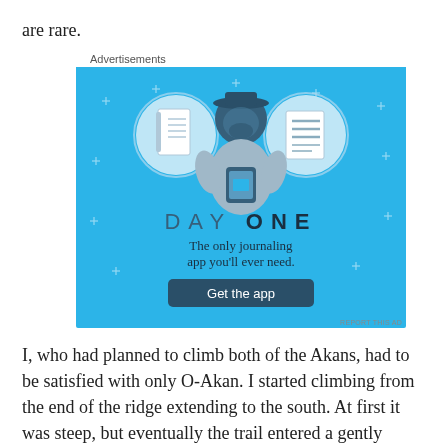are rare.
Advertisements
[Figure (illustration): Day One journaling app advertisement. Blue background with illustrated person holding a phone, flanked by notebook icons. Text reads 'DAY ONE - The only journaling app you'll ever need.' with a dark blue 'Get the app' button.]
I, who had planned to climb both of the Akans, had to be satisfied with only O-Akan. I started climbing from the end of the ridge extending to the south. At first it was steep, but eventually the trail entered a gently sloping forest that later changed to shrubs; once it